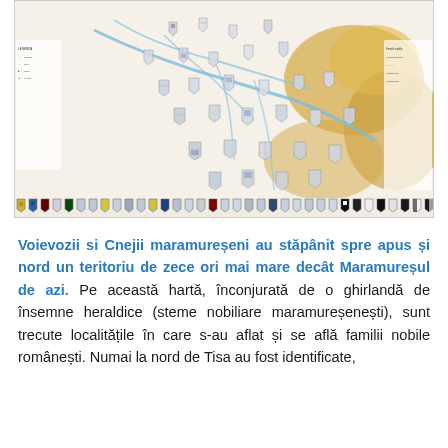[Figure (map): A historical map showing the territory ruled by Voivodes and Cneji (noble families) of Maramureș, surrounded by a border of heraldic emblems (coats of arms of Maramureș noble families). The map shows rivers, settlements marked with shield-shaped heraldic crests, and a garland of noble family crests along the bottom edge.]
Voievozii si Cnejii maramureșeni au stăpânit spre apus și nord un teritoriu de zece ori mai mare decât Maramureșul de azi. Pe această hartă, înconjurată de o ghirlandă de însemne heraldice (steme nobiliare maramureșenești), sunt trecute localitățile în care s-au aflat și se află familii nobile românești. Numai la nord de Tisa au fost identificate,